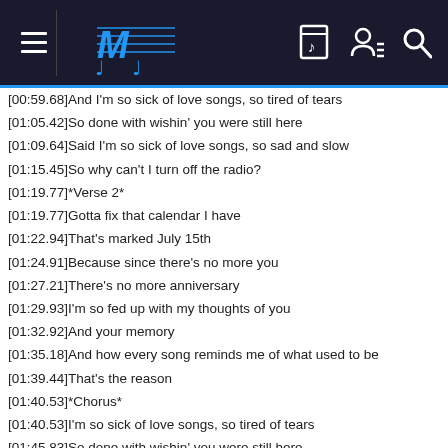MiniLyrics app header with logo and icons
[00:59.68]And I'm so sick of love songs, so tired of tears
[01:05.42]So done with wishin' you were still here
[01:09.64]Said I'm so sick of love songs, so sad and slow
[01:15.45]So why can't I turn off the radio?
[01:19.77]*Verse 2*
[01:19.77]Gotta fix that calendar I have
[01:22.94]That's marked July 15th
[01:24.91]Because since there's no more you
[01:27.21]There's no more anniversary
[01:29.93]I'm so fed up with my thoughts of you
[01:32.92]And your memory
[01:35.18]And how every song reminds me of what used to be
[01:39.44]That's the reason
[01:40.53]*Chorus*
[01:40.53]I'm so sick of love songs, so tired of tears
[01:45.83]So done with wishin' you were still here
[01:50.24]Said I'm so sick of love songs, so sad and slow